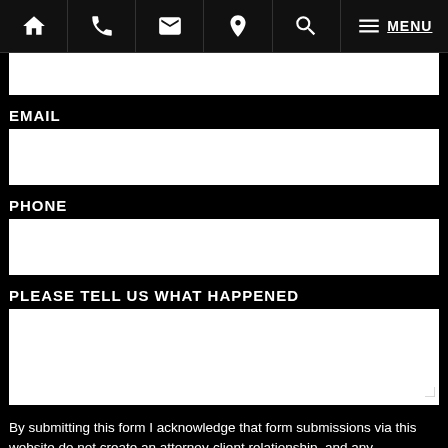Navigation bar with icons: home, phone, email, location, search, menu/MENU
EMAIL
PHONE
PLEASE TELL US WHAT HAPPENED
By submitting this form I acknowledge that form submissions via this website do not create an attorney-client relationship, and any information I send is not protected by attorney-client privilege.